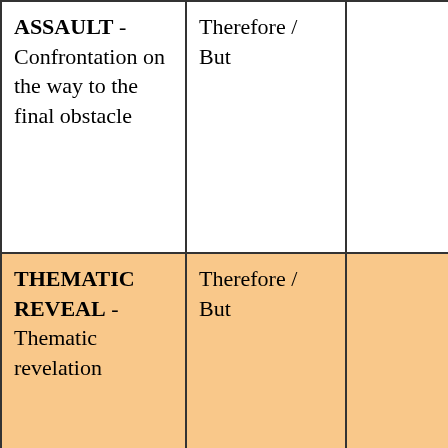| ASSAULT - Confrontation on the way to the final obstacle | Therefore / But |  |
| THEMATIC REVEAL - Thematic revelation | Therefore / But |  |
| CLASH - Final battle against the last obstacle | Therefore / But |  |
| RESOLUTION - We reached our goal, or we have failed... | Therefore / But |  |